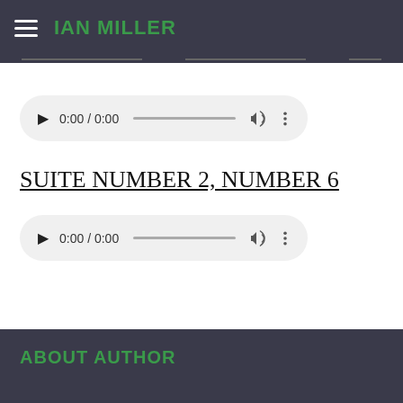IAN MILLER
[Figure (screenshot): Audio player widget showing 0:00 / 0:00 with play button, progress bar, volume icon, and more options icon on a light grey rounded pill background]
SUITE NUMBER 2, NUMBER 6
[Figure (screenshot): Audio player widget showing 0:00 / 0:00 with play button, progress bar, volume icon, and more options icon on a light grey rounded pill background]
ABOUT AUTHOR